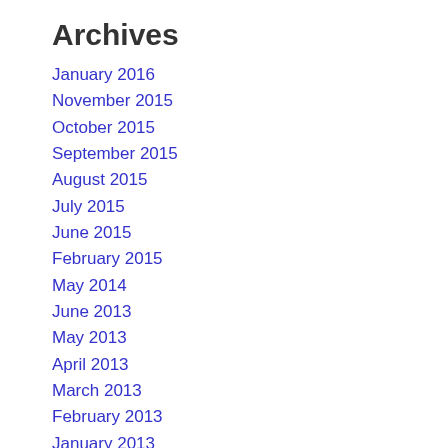Archives
January 2016
November 2015
October 2015
September 2015
August 2015
July 2015
June 2015
February 2015
May 2014
June 2013
May 2013
April 2013
March 2013
February 2013
January 2013
December 2012
November 2012
October 2012
September 2012